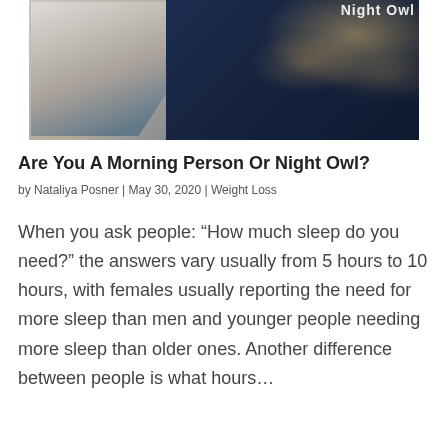[Figure (photo): Split image showing a morning person (light, cozy bed/blanket setting) on the left and a night owl (woman working at a computer in a dark office with city lights in background) on the right. Partially visible title 'Night Owl' at top right.]
Are You A Morning Person Or Night Owl?
by Nataliya Posner | May 30, 2020 | Weight Loss
When you ask people: “How much sleep do you need?” the answers vary usually from 5 hours to 10 hours, with females usually reporting the need for more sleep than men and younger people needing more sleep than older ones. Another difference between people is what hours…